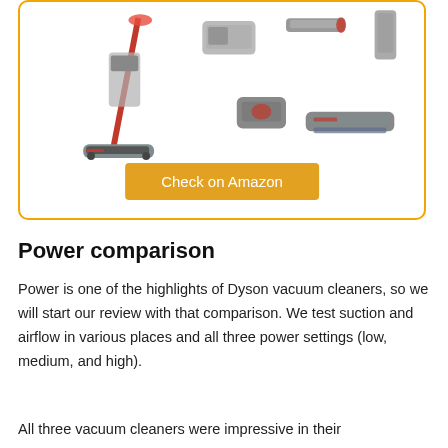[Figure (photo): Product photo of Dyson vacuum cleaner with multiple attachments and accessories shown, including stick vacuum, brush heads, and accessories against white background. Yellow-bordered product card.]
Check on Amazon
Power comparison
Power is one of the highlights of Dyson vacuum cleaners, so we will start our review with that comparison. We test suction and airflow in various places and all three power settings (low, medium, and high).
All three vacuum cleaners were impressive in their